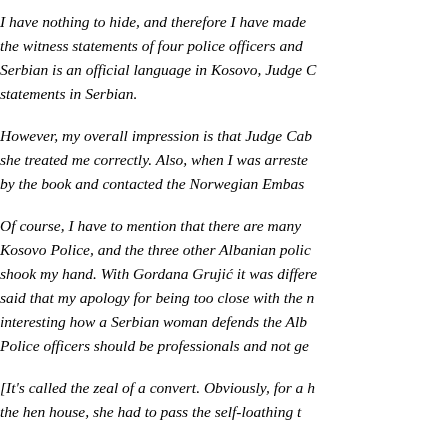I have nothing to hide, and therefore I have made the witness statements of four police officers and Serbian is an official language in Kosovo, Judge C statements in Serbian.
However, my overall impression is that Judge Cab she treated me correctly. Also, when I was arreste by the book and contacted the Norwegian Embas
Of course, I have to mention that there are many Kosovo Police, and the three other Albanian polic shook my hand. With Gordana Grujić it was differe said that my apology for being too close with the n interesting how a Serbian woman defends the Alb Police officers should be professionals and not ge
[It's called the zeal of a convert. Obviously, for a h the hen house, she had to pass the self-loathing t
Kosovo aspires to be a member of the European